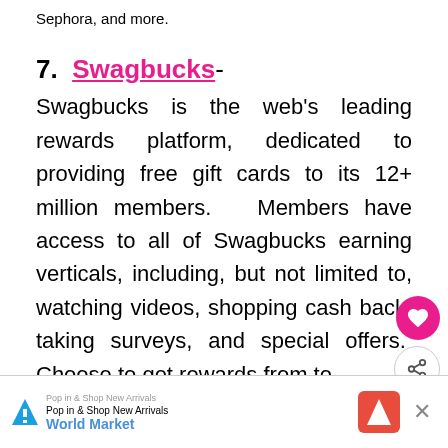Sephora, and more.
7. Swagbucks- Swagbucks is the web's leading rewards platform, dedicated to providing free gift cards to its 12+ million members. Members have access to all of Swagbucks earning verticals, including, but not limited to, watching videos, shopping cash back, taking surveys, and special offers. Choose to get rewards from top...